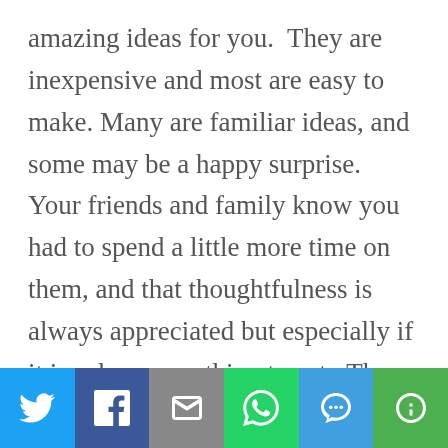amazing ideas for you.  They are inexpensive and most are easy to make. Many are familiar ideas, and some may be a happy surprise.  Your friends and family know you had to spend a little more time on them, and that thoughtfulness is always appreciated but especially if it involves something to eat.  The first gifts I gave when I graduated from
[Figure (other): Social sharing bar with six buttons: Twitter (blue), Facebook (dark blue), Email (gray), WhatsApp (green), SMS (light blue), More (green)]